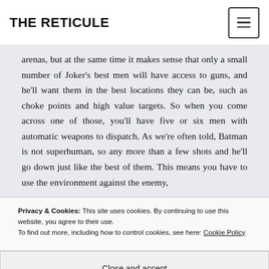THE RETICULE
arenas, but at the same time it makes sense that only a small number of Joker's best men will have access to guns, and he'll want them in the best locations they can be, such as choke points and high value targets. So when you come across one of those, you'll have five or six men with automatic weapons to dispatch. As we're often told, Batman is not superhuman, so any more than a few shots and he'll go down just like the best of them. This means you have to use the environment against the enemy,
Privacy & Cookies: This site uses cookies. By continuing to use this website, you agree to their use. To find out more, including how to control cookies, see here: Cookie Policy
Close and accept
planning then dodging and punching.